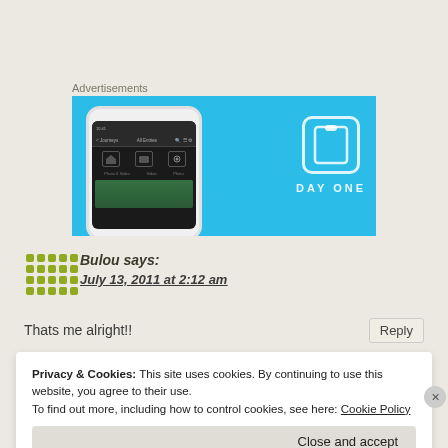Advertisements
[Figure (screenshot): DayOne app advertisement banner with blue background showing a phone screenshot on left and DayOne logo/wordmark on right]
Bulou says:
July 13, 2011 at 2:12 am
Thats me alright!!
Reply
Privacy & Cookies: This site uses cookies. By continuing to use this website, you agree to their use.
To find out more, including how to control cookies, see here: Cookie Policy
Close and accept